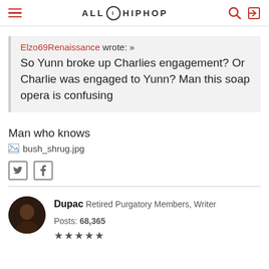ALL HIP HOP
Elzo69Renaissance wrote: »
So Yunn broke up Charlies engagement? Or Charlie was engaged to Yunn? Man this soap opera is confusing
Man who knows
[Figure (illustration): Broken image placeholder labeled bush_shrug.jpg]
Dupac   Retired   Purgatory   Members, Writer   Posts: 68,365   ★★★★★